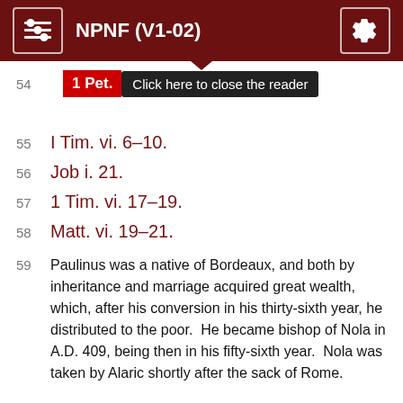NPNF (V1-02)
54  1 Pet.  [Click here to close the reader]
55  I Tim. vi. 6–10.
56  Job i. 21.
57  1 Tim. vi. 17–19.
58  Matt. vi. 19–21.
59  Paulinus was a native of Bordeaux, and both by inheritance and marriage acquired great wealth, which, after his conversion in his thirty-sixth year, he distributed to the poor.  He became bishop of Nola in A.D. 409, being then in his fifty-sixth year.  Nola was taken by Alaric shortly after the sack of Rome.